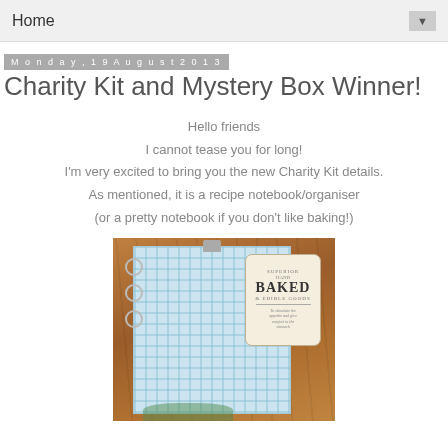Home
Monday, 19 August 2013
Charity Kit and Mystery Box Winner!
Hello friends
I cannot tease you for long!
I'm very excited to bring you the new Charity Kit details.
As mentioned, it is a recipe notebook/organiser
(or a pretty notebook if you don't like baking!)
[Figure (photo): A recipe notebook/organiser with blue gingham cover and a vintage baked goods label, shown on a wooden surface with metal binder rings]